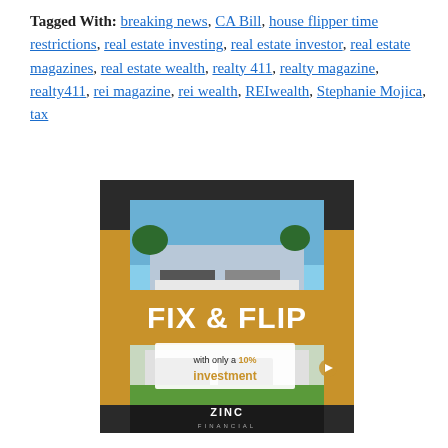Tagged With: breaking news, CA Bill, house flipper time restrictions, real estate investing, real estate investor, real estate magazines, real estate wealth, realty 411, realty magazine, realty411, rei magazine, rei wealth, REIwealth, Stephanie Mojica, tax
[Figure (photo): Advertisement banner for Zinc Financial featuring a house photo and the text 'FIX & FLIP with only a 10% investment' with a gold and dark background.]